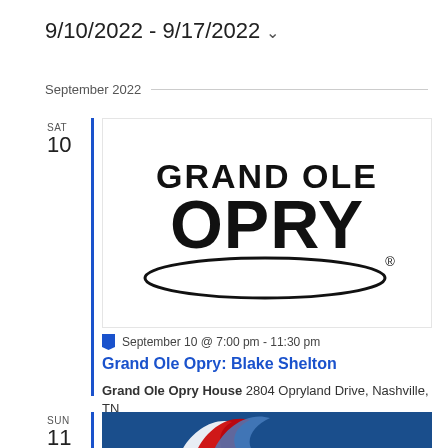9/10/2022 - 9/17/2022
September 2022
SAT 10
[Figure (logo): Grand Ole Opry logo — large bold black text 'GRAND OLE OPRY' with a registered trademark symbol and a curved oval underline]
September 10 @ 7:00 pm - 11:30 pm
Grand Ole Opry: Blake Shelton
Grand Ole Opry House 2804 Opryland Drive, Nashville, TN
SUN 11
[Figure (logo): Tennessee Titans logo — partial view of the Titans flame/sword logo on a dark navy blue background]